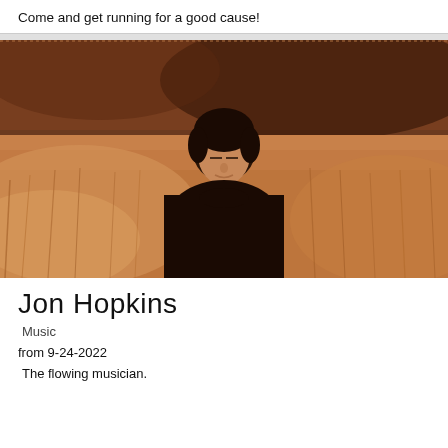Come and get running for a good cause!
[Figure (photo): Sepia-toned photograph of a young man with dark hair wearing a black shirt, standing in a field of golden dry grass with a dark cloudy sky background. The man is looking slightly downward.]
Jon Hopkins
Music
from 9-24-2022
The flowing musician.